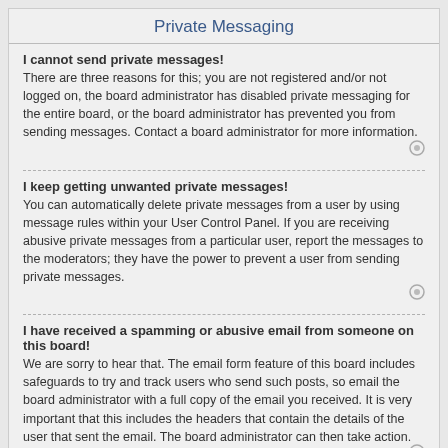Private Messaging
I cannot send private messages!
There are three reasons for this; you are not registered and/or not logged on, the board administrator has disabled private messaging for the entire board, or the board administrator has prevented you from sending messages. Contact a board administrator for more information.
I keep getting unwanted private messages!
You can automatically delete private messages from a user by using message rules within your User Control Panel. If you are receiving abusive private messages from a particular user, report the messages to the moderators; they have the power to prevent a user from sending private messages.
I have received a spamming or abusive email from someone on this board!
We are sorry to hear that. The email form feature of this board includes safeguards to try and track users who send such posts, so email the board administrator with a full copy of the email you received. It is very important that this includes the headers that contain the details of the user that sent the email. The board administrator can then take action.
Friends and Foes